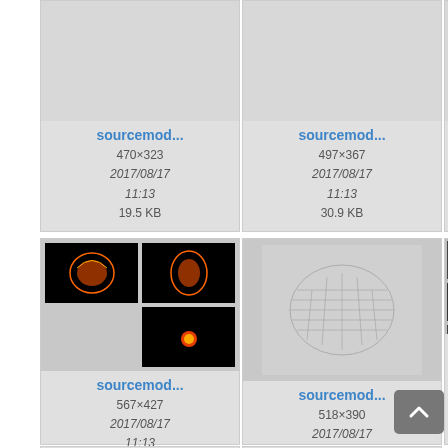[Figure (screenshot): File gallery grid showing medical brain scan image thumbnails. Row 1: three cards (partially cut off on right) showing 'sourcemod...' files. Row 2: three cards with brain scan thumbnails, 'sourcemod...' and 'surface_' files. Bottom row partially visible.]
sourcemod...
470×323
2017/08/17
11:13
19.5 KB
sourcemod...
497×367
2017/08/17
11:13
30.9 KB
sourcem
493×...
2017/0...
11:1...
27.9
sourcemod...
567×427
2017/08/17
11:13
60.9 KB
sourcemod...
518×390
2017/08/17
11:13
23.4 KB
surface_
1200×...
2017/0...
11:1...
540.4